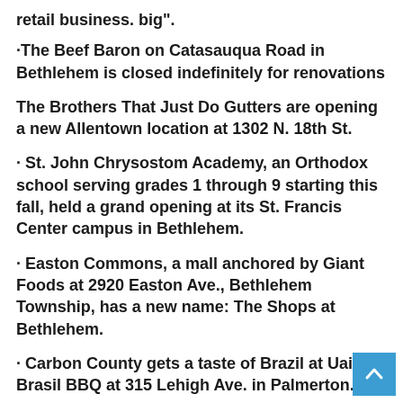retail business. big”.
·The Beef Baron on Catasauqua Road in Bethlehem is closed indefinitely for renovations
The Brothers That Just Do Gutters are opening a new Allentown location at 1302 N. 18th St.
· St. John Chrysostom Academy, an Orthodox school serving grades 1 through 9 starting this fall, held a grand opening at its St. Francis Center campus in Bethlehem.
· Easton Commons, a mall anchored by Giant Foods at 2920 Easton Ave., Bethlehem Township, has a new name: The Shops at Bethlehem.
· Carbon County gets a taste of Brazil at Uai Brasil BBQ at 315 Lehigh Ave. in Palmerton.
· The Keystone Pub in Bethlehem Township, at 3259 Easton Ave., has a new concept focused on...